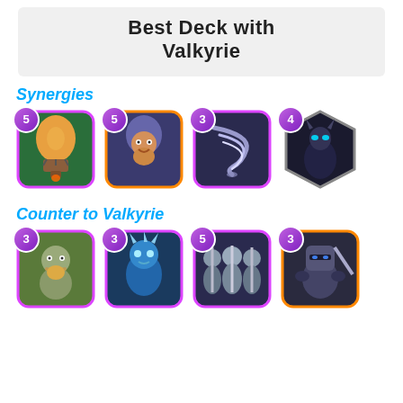Best Deck with Valkyrie
Synergies
[Figure (illustration): Four Clash Royale card images for Synergies: Balloon (cost 5, purple border), Wizard (cost 5, orange border), Tornado (cost 3, purple border), Night Witch (cost 4, legendary hexagon border)]
Counter to Valkyrie
[Figure (illustration): Four Clash Royale card images for Counter to Valkyrie: Knight (cost 3, purple border), Ice Wizard (cost 3, purple border), Three Musketeers (cost 5, purple border), Dark Prince (cost 3, orange border)]